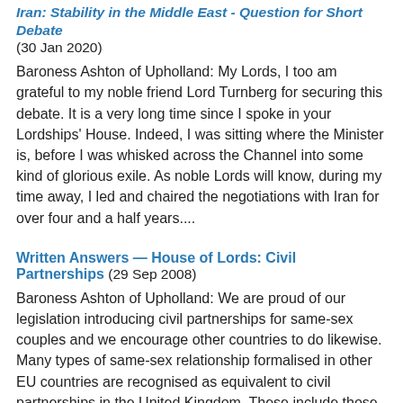Iran: Stability in the Middle East - Question for Short Debate (30 Jan 2020)
Baroness Ashton of Upholland: My Lords, I too am grateful to my noble friend Lord Turnberg for securing this debate. It is a very long time since I spoke in your Lordships' House. Indeed, I was sitting where the Minister is, before I was whisked across the Channel into some kind of glorious exile. As noble Lords will know, during my time away, I led and chaired the negotiations with Iran for over four and a half years....
Written Answers — House of Lords: Civil Partnerships (29 Sep 2008)
Baroness Ashton of Upholland: We are proud of our legislation introducing civil partnerships for same-sex couples and we encourage other countries to do likewise. Many types of same-sex relationship formalised in other EU countries are recognised as equivalent to civil partnerships in the United Kingdom. These include those registered in Belgium, Denmark, Finland, France, Germany,